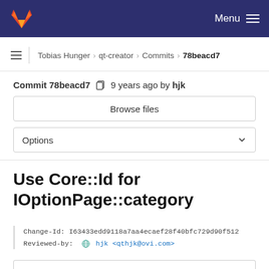GitLab navigation bar — Menu
Tobias Hunger > qt-creator > Commits > 78beacd7
Commit 78beacd7  9 years ago by hjk
Browse files
Options
Use Core::Id for IOptionPage::category
Change-Id: I63433edd9118a7aa4ecaef28f40bfc729d90f512
Reviewed-by: hjk <qthjk@ovi.com>